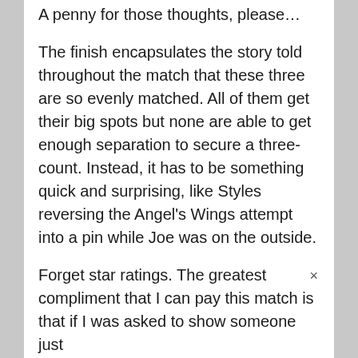A penny for those thoughts, please…
The finish encapsulates the story told throughout the match that these three are so evenly matched. All of them get their big spots but none are able to get enough separation to secure a three-count. Instead, it has to be something quick and surprising, like Styles reversing the Angel's Wings attempt into a pin while Joe was on the outside.
Forget star ratings. The greatest compliment that I can pay this match is that if I was asked to show someone just